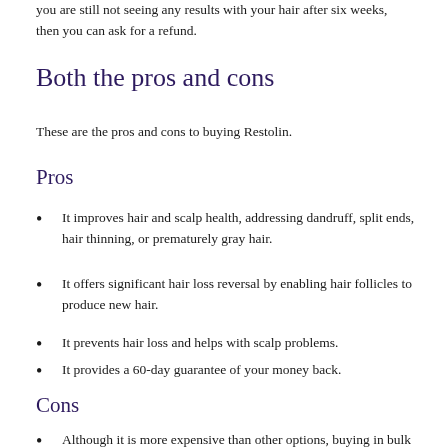you are still not seeing any results with your hair after six weeks, then you can ask for a refund.
Both the pros and cons
These are the pros and cons to buying Restolin.
Pros
It improves hair and scalp health, addressing dandruff, split ends, hair thinning, or prematurely gray hair.
It offers significant hair loss reversal by enabling hair follicles to produce new hair.
It prevents hair loss and helps with scalp problems.
It provides a 60-day guarantee of your money back.
Cons
Although it is more expensive than other options, buying in bulk